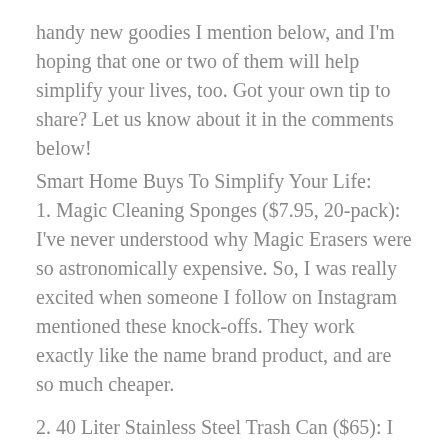handy new goodies I mention below, and I'm hoping that one or two of them will help simplify your lives, too. Got your own tip to share? Let us know about it in the comments below!
Smart Home Buys To Simplify Your Life:
1. Magic Cleaning Sponges ($7.95, 20-pack): I've never understood why Magic Erasers were so astronomically expensive. So, I was really excited when someone I follow on Instagram mentioned these knock-offs. They work exactly like the name brand product, and are so much cheaper.
2. 40 Liter Stainless Steel Trash Can ($65): I hesitate to admit this, but we lived with a broken trash can for two years. The top got dented at some point, so it wouldn't open when you pushed on the foot pedal—we had to manually lift the top with our hands. Yuck. I finally decided enough was enough and replaced it with this stainless steel